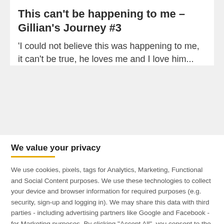This can't be happening to me – Gillian's Journey #3
'I could not believe this was happening to me, it can't be true, he loves me and I love him...
We value your privacy
We use cookies, pixels, tags for Analytics, Marketing, Functional and Social Content purposes. We use these technologies to collect your device and browser information for required purposes (e.g. security, sign-up and logging in). We may share this data with third parties - including advertising partners like Google and Facebook - for Marketing purposes. By clicking "Accept All", you consent to the use of ALL the cookies. Please visit our Privacy Policy for more information.
ACCEPT ALL
MANAGE COOKIES